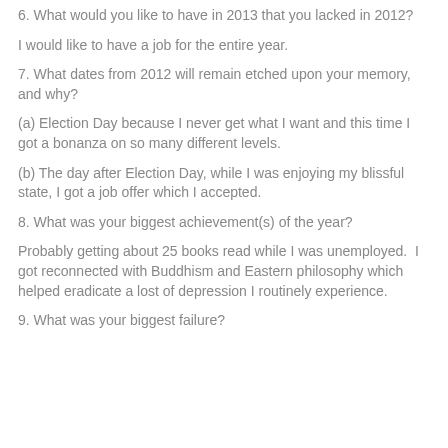6. What would you like to have in 2013 that you lacked in 2012?
I would like to have a job for the entire year.
7. What dates from 2012 will remain etched upon your memory, and why?
(a) Election Day because I never get what I want and this time I got a bonanza on so many different levels.
(b) The day after Election Day, while I was enjoying my blissful state, I got a job offer which I accepted.
8. What was your biggest achievement(s) of the year?
Probably getting about 25 books read while I was unemployed.  I got reconnected with Buddhism and Eastern philosophy which helped eradicate a lost of depression I routinely experience.
9. What was your biggest failure?